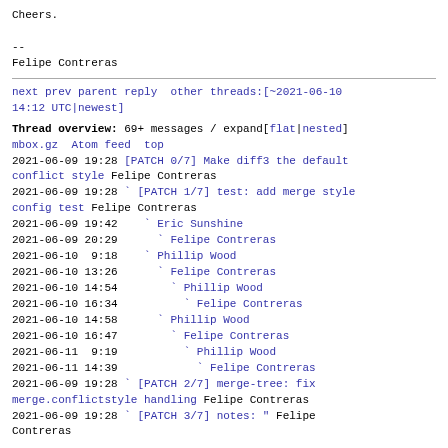Cheers.

--
Felipe Contreras
next prev parent reply  other threads:[~2021-06-10 14:12 UTC|newest]
Thread overview: 69+ messages / expand[flat|nested]
mbox.gz  Atom feed  top
2021-06-09 19:28 [PATCH 0/7] Make diff3 the default conflict style Felipe Contreras
2021-06-09 19:28 ` [PATCH 1/7] test: add merge style config test Felipe Contreras
2021-06-09 19:42   ` Eric Sunshine
2021-06-09 20:29     ` Felipe Contreras
2021-06-10  9:18   ` Phillip Wood
2021-06-10 13:26     ` Felipe Contreras
2021-06-10 14:54       ` Phillip Wood
2021-06-10 16:34         ` Felipe Contreras
2021-06-10 14:58     ` Phillip Wood
2021-06-10 16:47       ` Felipe Contreras
2021-06-11  9:19         ` Phillip Wood
2021-06-11 14:39           ` Felipe Contreras
2021-06-09 19:28 ` [PATCH 2/7] merge-tree: fix merge.conflictstyle handling Felipe Contreras
2021-06-09 19:28 ` [PATCH 3/7] notes: " Felipe Contreras